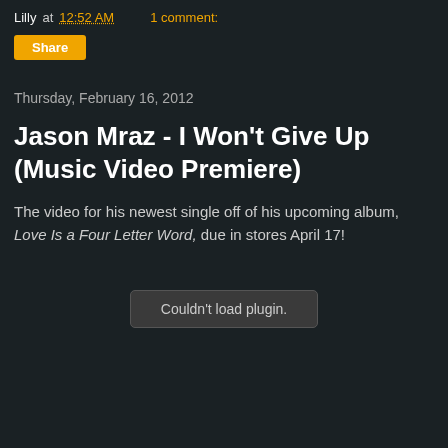Lilly at 12:52 AM    1 comment:
Share
Thursday, February 16, 2012
Jason Mraz - I Won't Give Up (Music Video Premiere)
The video for his newest single off of his upcoming album, Love Is a Four Letter Word, due in stores April 17!
[Figure (other): Embedded video plugin placeholder showing 'Couldn't load plugin.']